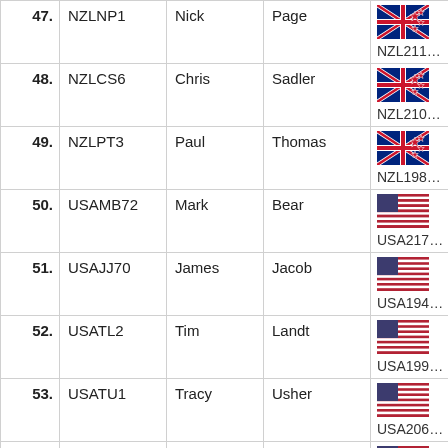| # | Code | First | Last | Flag/ID |
| --- | --- | --- | --- | --- |
| 47. | NZLNP1 | Nick | Page | NZL211… |
| 48. | NZLCS6 | Chris | Sadler | NZL210… |
| 49. | NZLPT3 | Paul | Thomas | NZL198… |
| 50. | USAMB72 | Mark | Bear | USA217… |
| 51. | USAJJ70 | James | Jacob | USA194… |
| 52. | USATL2 | Tim | Landt | USA199… |
| 53. | USATU1 | Tracy | Usher | USA206… |
| 54. | USAPV4 | Peter | Vessella |  |